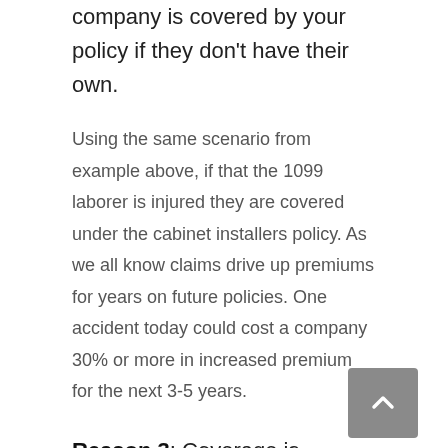company is covered by your policy if they don't have their own.
Using the same scenario from example above, if that the 1099 laborer is injured they are covered under the cabinet installers policy. As we all know claims drive up premiums for years on future policies. One accident today could cost a company 30% or more in increased premium for the next 3-5 years.
Reason 3: Coverage is provided from the top down